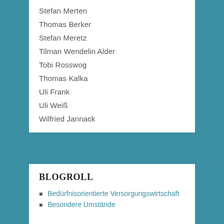Stefan Merten
Thomas Berker
Stefan Meretz
Tilman Wendelin Alder
Tobi Rosswog
Thomas Kalka
Uli Frank
Uli Weiß
Wilfried Jannack
BLOGROLL
Bedürfnisorientierte Versorgungswirtschaft
Besondere Umstände